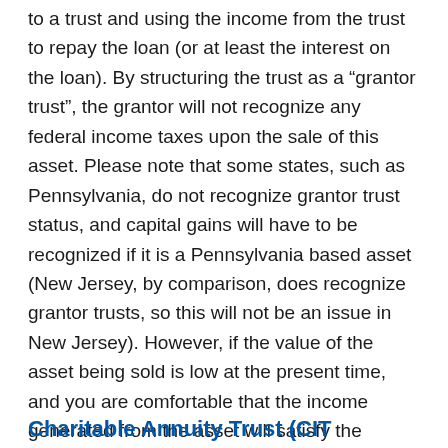to a trust and using the income from the trust to repay the loan (or at least the interest on the loan). By structuring the trust as a “grantor trust”, the grantor will not recognize any federal income taxes upon the sale of this asset. Please note that some states, such as Pennsylvania, do not recognize grantor trust status, and capital gains will have to be recognized if it is a Pennsylvania based asset (New Jersey, by comparison, does recognize grantor trusts, so this will not be an issue in New Jersey). However, if the value of the asset being sold is low at the present time, and you are comfortable that the income generated from the asset will satisfy the installment obligation, this is a good way to transfer appreciation to your heirs.
Charitable Annuity Trust (CIT